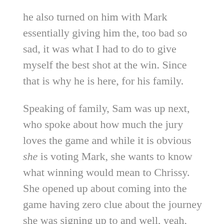he also turned on him with Mark essentially giving him the, too bad so sad, it was what I had to do to give myself the best shot at the win. Since that is why he is here, for his family.
Speaking of family, Sam was up next, who spoke about how much the jury loves the game and while it is obvious she is voting Mark, she wants to know what winning would mean to Chrissy. She opened up about coming into the game having zero clue about the journey she was signing up to and well, yeah, the jury didn't like it. Jesse followed it up asking Mark how managing his threat level got him to the end, with Mark opening up about trying to make as many friends as possible and then essentially laying as low as possible. And then when Jordie identified him as a threat, he just agreed that he was so that it kind of